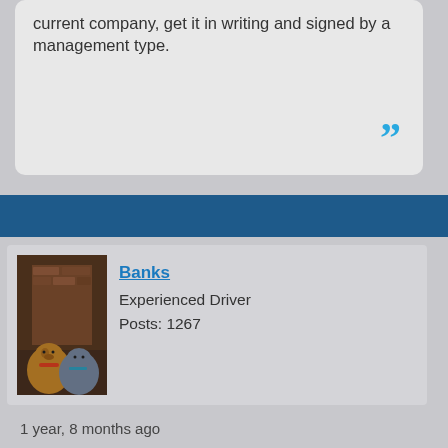current company, get it in writing and signed by a management type.
[Figure (illustration): Closing double quotation mark in cyan/blue color]
[Figure (photo): Profile photo of two dogs sitting in front of a fireplace]
Banks
Experienced Driver
Posts: 1267
1 year, 8 months ago